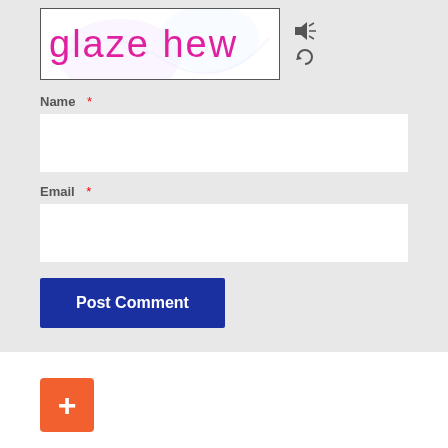[Figure (other): CAPTCHA image showing handwritten-style text 'glaze hew' in pink/magenta on white background with decorative swirls]
Name *
[Figure (other): Empty white text input field for Name]
Email *
[Figure (other): Empty white text input field for Email]
Post Comment
[Figure (other): Orange/red square button with white plus (+) symbol]
Archi...